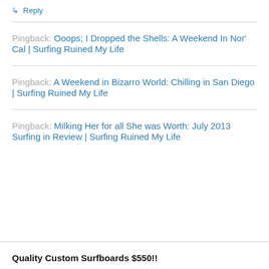↳ Reply
Pingback: Ooops; I Dropped the Shells: A Weekend In Nor' Cal | Surfing Ruined My Life
Pingback: A Weekend in Bizarro World: Chilling in San Diego | Surfing Ruined My Life
Pingback: Milking Her for all She was Worth: July 2013 Surfing in Review | Surfing Ruined My Life
Quality Custom Surfboards $550!!